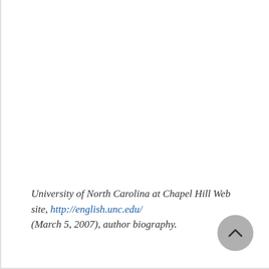University of North Carolina at Chapel Hill Web site, http://english.unc.edu/ (March 5, 2007), author biography.